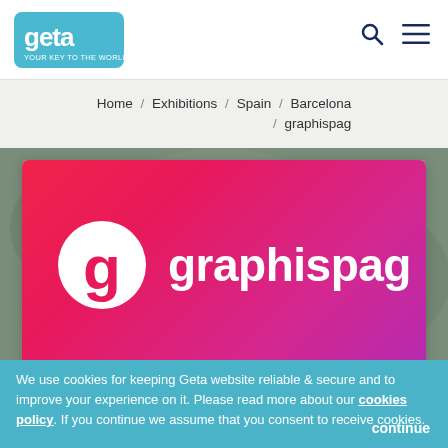Geta - Journey to the world of travel (logo) | Search | Menu
Home / Exhibitions / Spain / Barcelona / graphispag
[Figure (logo): Graphispag logo on pink-to-magenta gradient background. A white circle with a pink lowercase 'g' inside, followed by the word 'graphispag' in white bold text.]
We use cookies for keeping Geta website reliable & secure and to improve your experience on it. Please read more about our cookies policy. If you continue we assume that you consent to receive cookies.                                          continue